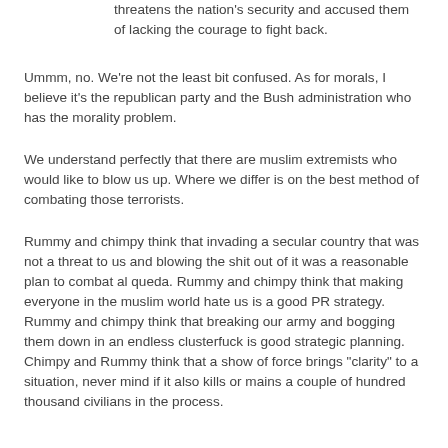threatens the nation's security and accused them of lacking the courage to fight back.
Ummm, no. We're not the least bit confused. As for morals, I believe it's the republican party and the Bush administration who has the morality problem.
We understand perfectly that there are muslim extremists who would like to blow us up. Where we differ is on the best method of combating those terrorists.
Rummy and chimpy think that invading a secular country that was not a threat to us and blowing the shit out of it was a reasonable plan to combat al queda. Rummy and chimpy think that making everyone in the muslim world hate us is a good PR strategy. Rummy and chimpy think that breaking our army and bogging them down in an endless clusterfuck is good strategic planning. Chimpy and Rummy think that a show of force brings "clarity" to a situation, never mind if it also kills or mains a couple of hundred thousand civilians in the process.